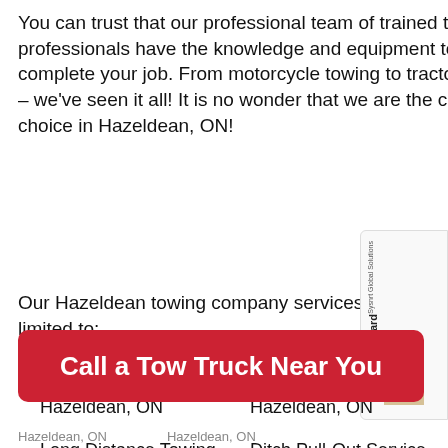You can trust that our professional team of trained towing professionals have the knowledge and equipment to efficiently complete your job. From motorcycle towing to tractor trailer towing – we've seen it all! It is no wonder that we are the customer's choice in Hazeldean, ON!
Our Hazeldean towing company services include, but are not limited to:
Local Towing Hazeldean, ON
Long Distance Towing Hazeldean,
Winch-Out Service Hazeldean, ON
Ditch Pull-Out Service Hazeldean,
[Figure (other): Sysnrt Global Solutions Assurance Card advertisement sidebar with orange arrow icon]
Call a Tow Truck Near You
Hazeldean, ON    Hazeldean, ON